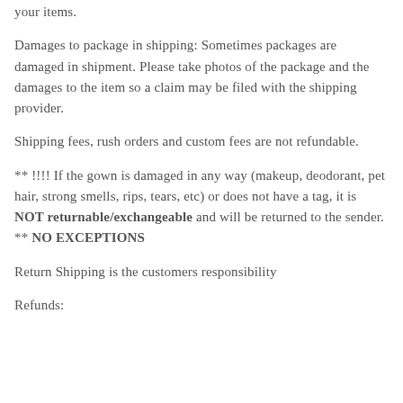your items.
Damages to package in shipping: Sometimes packages are damaged in shipment. Please take photos of the package and the damages to the item so a claim may be filed with the shipping provider.
Shipping fees, rush orders and custom fees are not refundable.
** !!!! If the gown is damaged in any way (makeup, deodorant, pet hair, strong smells, rips, tears, etc) or does not have a tag, it is NOT returnable/exchangeable and will be returned to the sender. ** NO EXCEPTIONS
Return Shipping is the customers responsibility
Refunds: